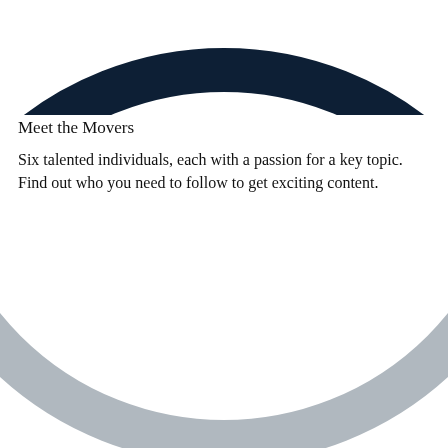[Figure (donut-chart): Top portion of a dark navy blue donut/ring chart, cropped at the top of the page]
Meet the Movers
Six talented individuals, each with a passion for a key topic. Find out who you need to follow to get exciting content.
[Figure (donut-chart): Bottom portion of a large light grey donut/ring chart with a small red segment near top-right and a small cyan/blue segment on the left side]